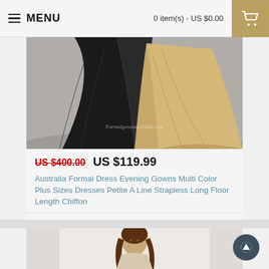MENU   0 item(s) - US $0.00
[Figure (photo): Product photo of formal dresses: black and champagne/beige A-line chiffon gowns, with watermark text 'Formalgownaustralia.com']
US $400.00   US $119.99
Australia Formal Dress Evening Gowns Multi Color Plus Sizes Dresses Petite A Line Strapless Long Floor Length Chiffon
Australia Formal Dress Evening Gowns Multi Color Plus Sizes Dresses Petite A Line Strapless Long Fl..
Add to Wish List
Add to Compare
[Figure (photo): Partial product photo showing a woman with dark hair wearing a formal dress, white background]